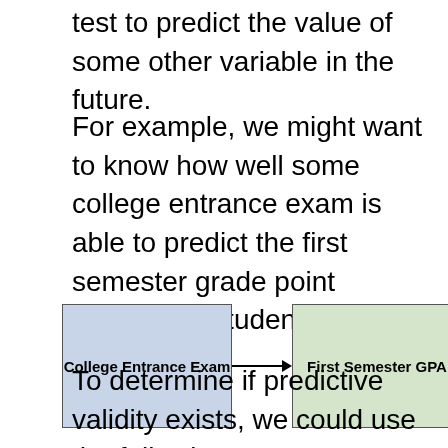test to predict the value of some other variable in the future.
For example, we might want to know how well some college entrance exam is able to predict the first semester grade point average of students.
[Figure (flowchart): Two boxes connected by an arrow. Left box labeled 'College Entrance Exam' (blue background). Right box labeled 'First Semester GPA' (green background). Arrow pointing from left box to right box.]
To determine if predictive validity exists, we could use the following process: